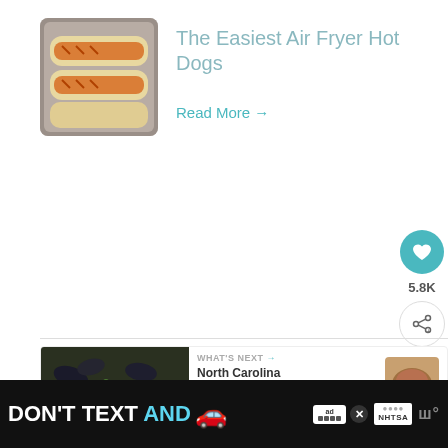[Figure (photo): Thumbnail photo of hot dogs in an air fryer basket]
The Easiest Air Fryer Hot Dogs
Read More →
5.8K
[Figure (photo): Photo of corn and mussels seafood boil]
WHAT'S NEXT → North Carolina Instant Pot...
[Figure (screenshot): Advertisement banner: DON'T TEXT AND [car emoji] with NHTSA logo]